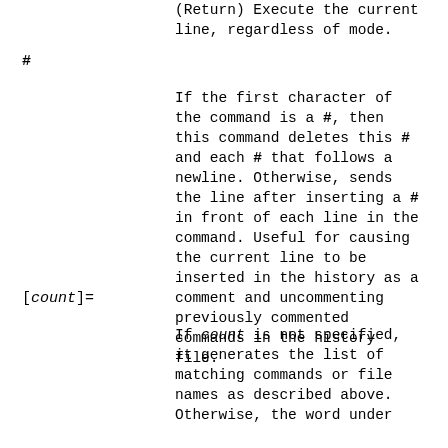(Return) Execute the current line, regardless of mode.
#
If the first character of the command is a #, then this command deletes this # and each # that follows a newline. Otherwise, sends the line after inserting a # in front of each line in the command. Useful for causing the current line to be inserted in the history as a comment and uncommenting previously commented commands in the history file.
[count]=
If count is not specified, it generates the list of matching commands or file names as described above. Otherwise, the word under